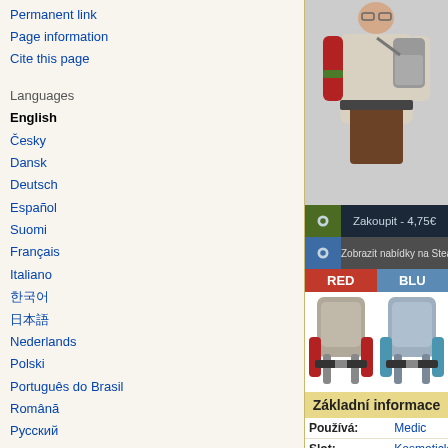Permanent link
Page information
Cite this page
Languages
English
Česky
Dansk
Deutsch
Español
Suomi
Français
Italiano
한국어
日本語
Nederlands
Polski
Português do Brasil
Română
Русский
Svenska
中文(简体)
中文(繁體)
[Figure (illustration): Game character illustration showing medic with backpack]
Zakoupit - 4,75€
Zobrazit nabídky na Steam Komunitním trhu
RED | BLU
[Figure (illustration): RED team cosmetic backpack item on medic]
[Figure (illustration): BLU team cosmetic backpack item on medic]
Základní informace
| Field | Value |
| --- | --- |
| Používá: | Medic |
| Slot: | Kosmetický |
| Místo nošení: | Shirt |
| Přispěl: | Svdl |
| Vydáno v: | Patch z 10. července 2013 |
| Dostupnost: | Otevření bedny #66, Craftování, Náhodné nalezení or Zakoupení |